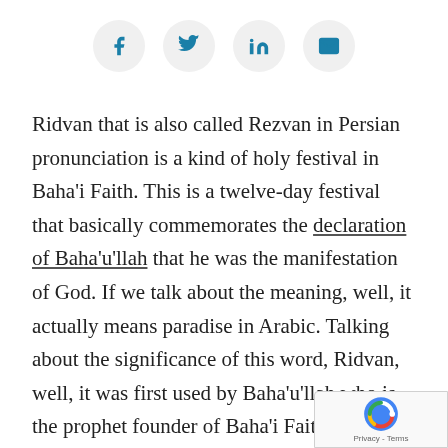[Figure (infographic): Social share icons: Facebook, Twitter, LinkedIn, Email — each in a light gray circle]
Ridvan that is also called Rezvan in Persian pronunciation is a kind of holy festival in Baha'i Faith. This is a twelve-day festival that basically commemorates the declaration of Baha'u'llah that he was the manifestation of God. If we talk about the meaning, well, it actually means paradise in Arabic. Talking about the significance of this word, Ridvan, well, it was first used by Baha'u'llah who is the prophet founder of Baha'i Faith. Baha'u'llah used this word to elaborate on the garden in which he spent his last 12 days in Baghdad. This is actually called the 'Garden of Ridvan'. Well, these 12 days